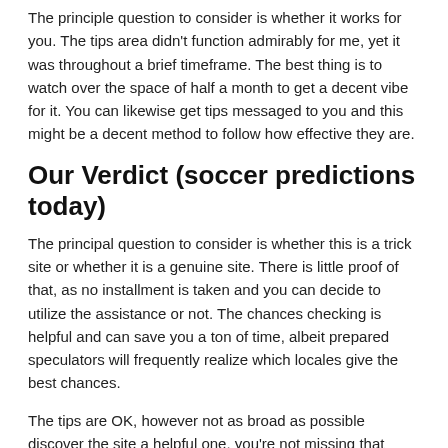The principle question to consider is whether it works for you. The tips area didn't function admirably for me, yet it was throughout a brief timeframe. The best thing is to watch over the space of half a month to get a decent vibe for it. You can likewise get tips messaged to you and this might be a decent method to follow how effective they are.
Our Verdict (soccer predictions today)
The principal question to consider is whether this is a trick site or whether it is a genuine site. There is little proof of that, as no installment is taken and you can decide to utilize the assistance or not. The chances checking is helpful and can save you a ton of time, albeit prepared speculators will frequently realize which locales give the best chances.
The tips are OK, however not as broad as possible discover the site a helpful one, you're not missing that much in the event that you decide to go somewhere else.
Oddscheckers brings in cash through guests tapping on offshoot connections and this can get a bit of tyrannical every once in a while as the promotions continue coming.